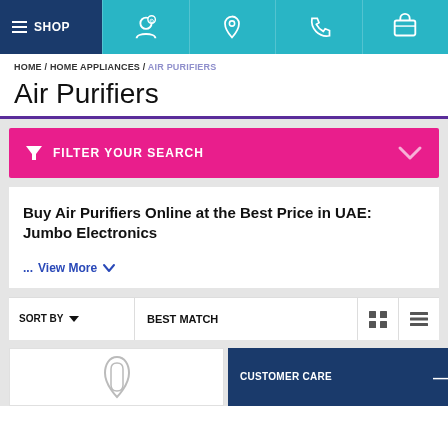SHOP
HOME / HOME APPLIANCES / AIR PURIFIERS
Air Purifiers
FILTER YOUR SEARCH
Buy Air Purifiers Online at the Best Price in UAE: Jumbo Electronics
...View More
SORT BY   BEST MATCH
CUSTOMER CARE